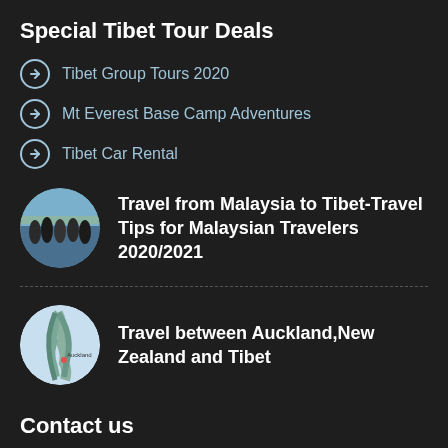Special Tibet Tour Deals
Tibet Group Tours 2020
Mt Everest Base Camp Adventures
Tibet Car Rental
[Figure (photo): Circular thumbnail photo of group of travelers at high altitude mountain location]
Travel from Malaysia to Tibet-Travel Tips for Malaysian Travelers 2020/2021
[Figure (map): Circular thumbnail map image showing Auckland, New Zealand coastline]
Travel between Auckland,New Zealand and Tibet
Contact us
[Figure (illustration): Location pin icon in circular frame]
No.13 Linkuo North Road,Chengguan